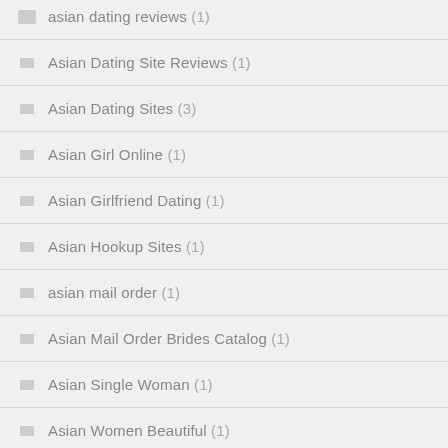asian dating reviews (1)
Asian Dating Site Reviews (1)
Asian Dating Sites (3)
Asian Girl Online (1)
Asian Girlfriend Dating (1)
Asian Hookup Sites (1)
asian mail order (1)
Asian Mail Order Brides Catalog (1)
Asian Single Woman (1)
Asian Women Beautiful (1)